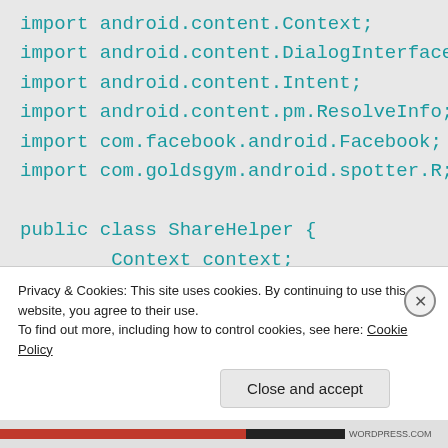import android.content.Context;
import android.content.DialogInterface;
import android.content.Intent;
import android.content.pm.ResolveInfo;
import com.facebook.android.Facebook;
import com.goldsgym.android.spotter.R;

public class ShareHelper {
        Context context;
        String subject;
        String body;
Privacy & Cookies: This site uses cookies. By continuing to use this website, you agree to their use.
To find out more, including how to control cookies, see here: Cookie Policy
Close and accept